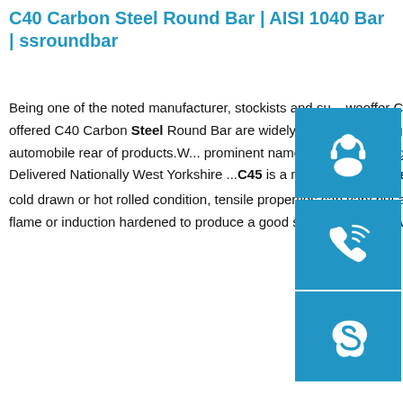C40 Carbon Steel Round Bar | AISI 1040 Bar | ssroundbar
Being one of the noted manufacturer, stockists and su... weoffer C40 Carbon Steel Round Bar.Available at eco... rates, the offered C40 Carbon Steel Round Bar are widely used in metallurgical, mechanical, electrical constructi... ships, military uses and automobile rear of products.W... prominent name in manufacturing and supplying a wid... of C40 …sp.info C45 Carbon Steel - Delivered Nationally West Yorkshire ...C45 is a medium carbon steel grade offering reasonable tensile strength. Supplied in the cold drawn or hot rolled condition, tensile properties can vary but are approximately between 500-800 N/mm². This grade can be flame or induction hardened to produce a good surface hardness with moderate wear resistance.sp.info EN 10297-1
[Figure (illustration): Three blue square buttons stacked vertically on the right side: headset/customer support icon, phone icon, and Skype icon]